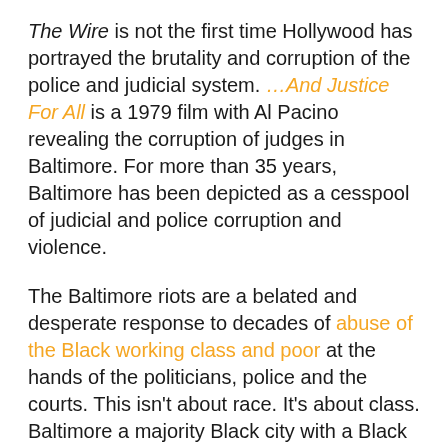The Wire is not the first time Hollywood has portrayed the brutality and corruption of the police and judicial system. ...And Justice For All is a 1979 film with Al Pacino revealing the corruption of judges in Baltimore. For more than 35 years, Baltimore has been depicted as a cesspool of judicial and police corruption and violence.
The Baltimore riots are a belated and desperate response to decades of abuse of the Black working class and poor at the hands of the politicians, police and the courts. This isn't about race. It's about class. Baltimore a majority Black city with a Black mayor, police chief and mostly Black police force. This is about the death of American capitalism which offers no future to poor and working class youth of all races.
Der Kosmonaut is an international freelance journalist, poet, social commentator and political philosopher. A graduate of Radio News and Current Affairs from the National